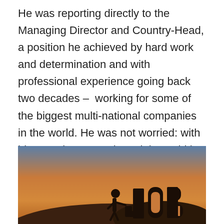He was reporting directly to the Managing Director and Country-Head, a position he achieved by hard work and determination and with professional experience going back two decades – working for some of the biggest multi-national companies in the world. He was not worried: with his experience, getting a job would be EASY.
[Figure (photo): A person climbing up large 3D letters spelling JOB against a sunset sky background]